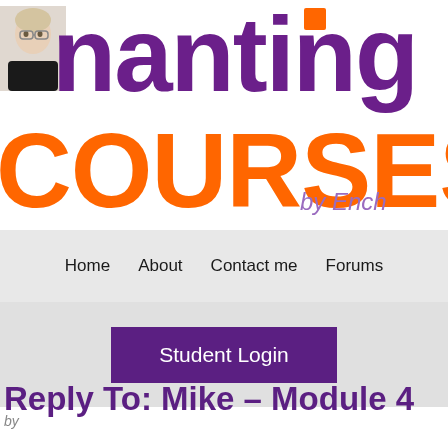[Figure (logo): Enchanting Courses logo with purple 'enchanting' text, orange 'COURSES' text, a small orange square dot, 'by Ench' subtitle in light purple, and a small photo of a woman in the top left corner]
Home   About   Contact me   Forums
Student Login
by
Reply To: Mike – Module 4